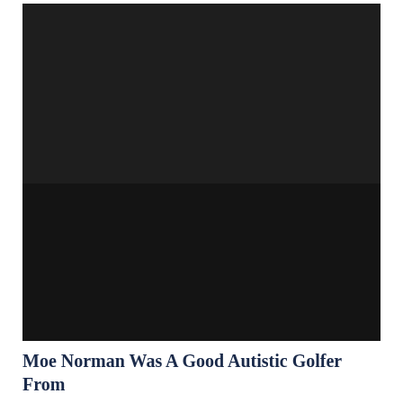[Figure (photo): A dark/black photograph, nearly entirely black with very low visibility content]
Moe Norman Was A Good Autistic Golfer From